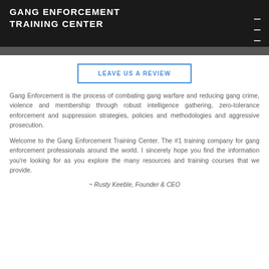GANG ENFORCEMENT TRAINING CENTER
LEAVE US A REVIEW
Gang Enforcement is the process of combating gang warfare and reducing gang crime, violence and membership through robust intelligence gathering, zero-tolerance enforcement and suppression strategies, policies and methodologies and aggressive prosecution.
Welcome to the Gang Enforcement Training Center. The #1 training company for gang enforcement professionals around the world. I sincerely hope you find the information you're looking for as you explore the many resources and training courses that we provide.
~ Rusty Keeble, Founder & CEO